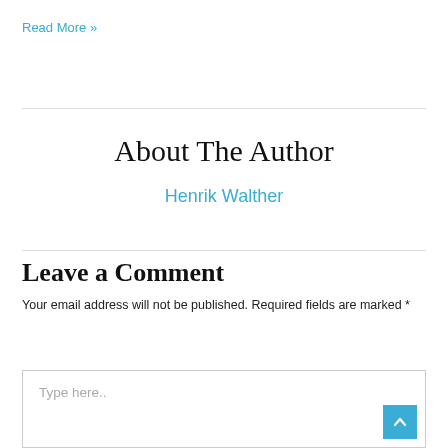Read More »
About The Author
Henrik Walther
Leave a Comment
Your email address will not be published. Required fields are marked *
Type here..